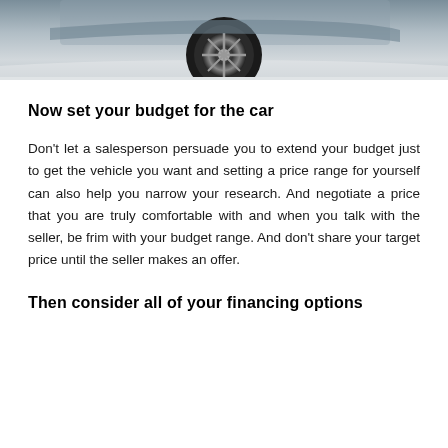[Figure (photo): Partial view of a car, showing the front wheel and undercarriage area on a light floor, top portion of image cropped]
Now set your budget for the car
Don't let a salesperson persuade you to extend your budget just to get the vehicle you want and setting a price range for yourself can also help you narrow your research. And negotiate a price that you are truly comfortable with and when you talk with the seller, be frim with your budget range. And don't share your target price until the seller makes an offer.
Then consider all of your financing options